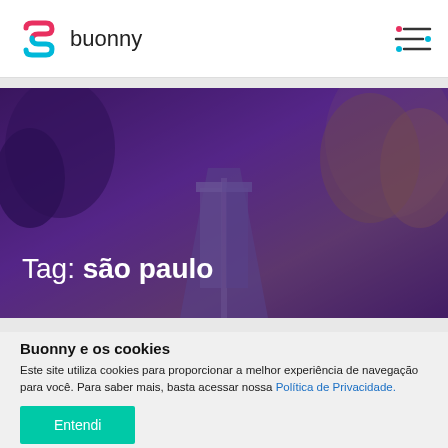buonny
[Figure (photo): Purple-toned banner image showing a road with trees, with overlay text 'Tag: são paulo']
Tag: são paulo
Buonny e os cookies
Este site utiliza cookies para proporcionar a melhor experiência de navegação para você. Para saber mais, basta acessar nossa Política de Privacidade.
Entendi